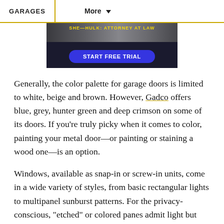GARAGES    More
[Figure (screenshot): Advertisement banner with dark background showing 'START FREE TRIAL' button in blue on dark background]
Generally, the color palette for garage doors is limited to white, beige and brown. However, Gadco offers blue, grey, hunter green and deep crimson on some of its doors. If you're truly picky when it comes to color, painting your metal door—or painting or staining a wood one—is an option.
Windows, available as snap-in or screw-in units, come in a wide variety of styles, from basic rectangular lights to multipanel sunburst patterns. For the privacy-conscious, "etched" or colored panes admit light but don't allow a clear view of the